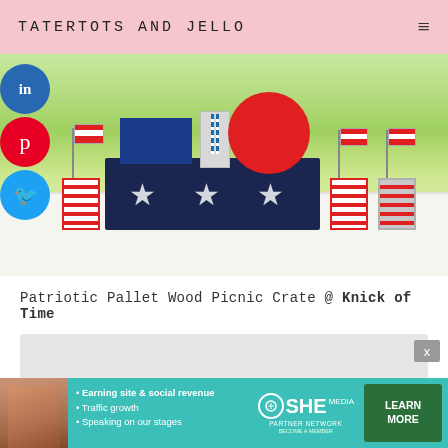TATERTOTS AND JELLO
[Figure (photo): Outdoor patriotic picnic table setup with a navy blue wooden crate decorated with three white stars, red plates, American flag cups, blue napkins, and striped straws. Social media share buttons (LinkedIn, Pinterest, Twitter) appear on the left side.]
Patriotic Pallet Wood Picnic Crate @ Knick of Time
[Figure (photo): Gray placeholder/loading image box]
[Figure (infographic): SHE Partner Network advertisement banner featuring a woman, bullet points about earning site and social revenue, traffic growth, speaking on stages, SHE logo, and a Learn More button.]